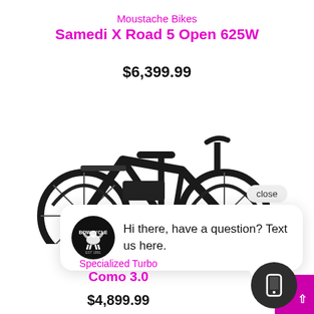Moustache Bikes Samedi X Road 5 Open 625W
$6,399.99
[Figure (photo): Black electric bicycle (Moustache Bikes Samedi X Road 5 Open 625W) photographed from the side, showing the frame, wheels, seat, and handlebars against a white background]
close
Hi there, have a question? Text us here.
Specialized Turbo Como 3.0
$4,899.99